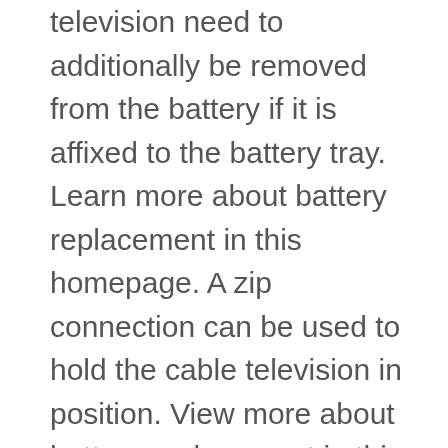television need to additionally be removed from the battery if it is affixed to the battery tray. Learn more about battery replacement in this homepage. A zip connection can be used to hold the cable television in position. View more about battery replacement in this page. Prior to attempting to detach a car battery, remember to keep the battery charger in the automobile, as a detached battery will certainly not last long. Check battery replacement here for more info. On top of that, you can keep the automobile battery charged by switching off attributes that use up the automobile's energy. Discover more about battery replacement in this link. Separating an auto battery effectively will protect against the battery from decomposing and also damage the cars and truck's electrical system, creating it to pass away too soon. Check it out battery replacement in this site. If you're traveling a short range, shut off any kind of features that consume a great deal of energy. Read battery replacement here for more info. As soon as you have actually detached the unfavorable booster